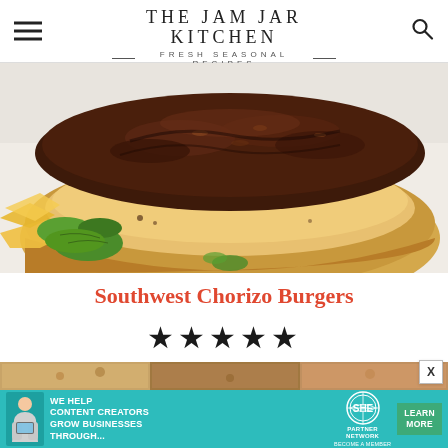THE JAM JAR KITCHEN — FRESH SEASONAL RECIPES
[Figure (photo): Close-up photo of a chorizo burger patty on a toasted bun with fresh herbs/greens on the side, on a white background]
Southwest Chorizo Burgers
★★★★★
[Figure (photo): Partial view of more food photos below]
[Figure (infographic): Advertisement banner: WE HELP CONTENT CREATORS GROW BUSINESSES THROUGH... with SHE Partner Network logo and LEARN MORE button]